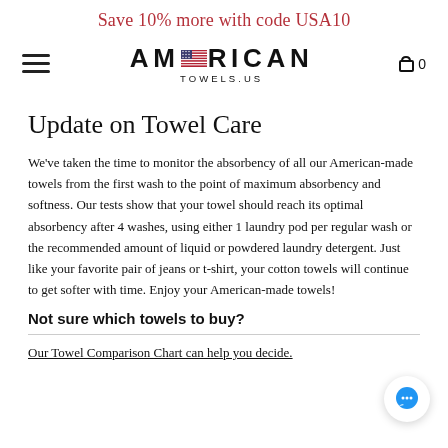Save 10% more with code USA10
[Figure (logo): American Towels US logo with US flag emoji replacing the 'E' in AMERICAN, with subtitle TOWELS.US]
Update on Towel Care
We've taken the time to monitor the absorbency of all our American-made towels from the first wash to the point of maximum absorbency and softness. Our tests show that your towel should reach its optimal absorbency after 4 washes, using either 1 laundry pod per regular wash or the recommended amount of liquid or powdered laundry detergent. Just like your favorite pair of jeans or t-shirt, your cotton towels will continue to get softer with time. Enjoy your American-made towels!
Not sure which towels to buy?
Our Towel Comparison Chart can help you decide.